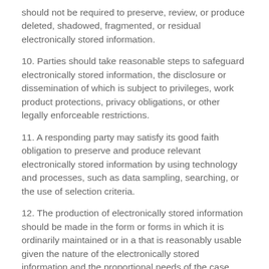should not be required to preserve, review, or produce deleted, shadowed, fragmented, or residual electronically stored information.
10. Parties should take reasonable steps to safeguard electronically stored information, the disclosure or dissemination of which is subject to privileges, work product protections, privacy obligations, or other legally enforceable restrictions.
11. A responding party may satisfy its good faith obligation to preserve and produce relevant electronically stored information by using technology and processes, such as data sampling, searching, or the use of selection criteria.
12. The production of electronically stored information should be made in the form or forms in which it is ordinarily maintained or in a that is reasonably usable given the nature of the electronically stored information and the proportional needs of the case.
13. The costs of preserving and producing relevant and proportionate electronically stored information ordinarily should be borne by the responding party.